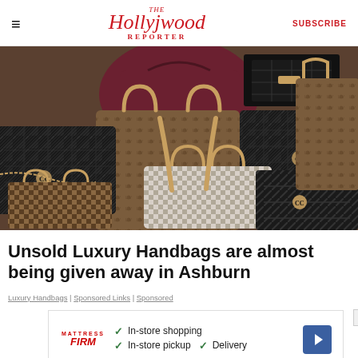The Hollywood Reporter | SUBSCRIBE
[Figure (photo): Collection of luxury designer handbags including Louis Vuitton monogram bags, Chanel quilted bags, and other high-end purses piled together]
Unsold Luxury Handbags are almost being given away in Ashburn
Luxury Handbags | Sponsored Links | Sponsored
[Figure (screenshot): Mattress Firm advertisement showing in-store shopping, in-store pickup, and delivery options with navigation arrow icon and close button X]